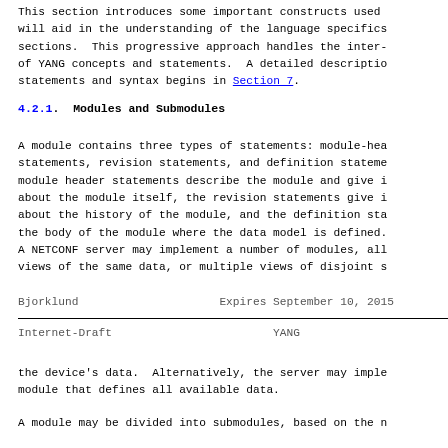This section introduces some important constructs used will aid in the understanding of the language specifics sections.  This progressive approach handles the inter- of YANG concepts and statements.  A detailed descriptio statements and syntax begins in Section 7.
4.2.1.  Modules and Submodules
A module contains three types of statements: module-hea statements, revision statements, and definition stateme module header statements describe the module and give i about the module itself, the revision statements give i about the history of the module, and the definition sta the body of the module where the data model is defined.
A NETCONF server may implement a number of modules, all views of the same data, or multiple views of disjoint s
Bjorklund                    Expires September 10, 2015
Internet-Draft                          YANG
the device's data.  Alternatively, the server may imple module that defines all available data.
A module may be divided into submodules, based on the n